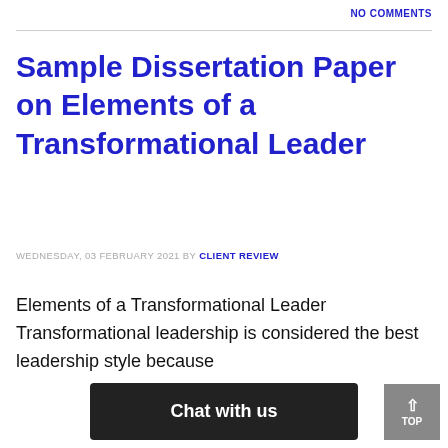NO COMMENTS
Sample Dissertation Paper on Elements of a Transformational Leader
WEDNESDAY, 03 FEBRUARY 2021 BY CLIENT REVIEW
Elements of a Transformational Leader Transformational leadership is considered the best leadership style because motiva... ...ater